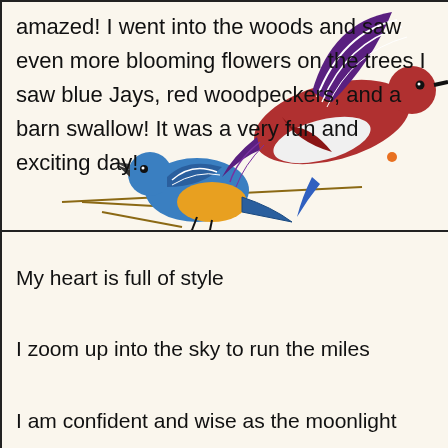amazed! I went into the woods and saw even more blooming flowers on the trees I saw blue Jays, red woodpeckers, and a barn swallow! It was a very fun and exciting day!
[Figure (illustration): Two colorful birds overlapping: a blue jay with orange chest on a brown branch on the left, and a large red/purple hummingbird or swallow in flight on the upper right.]
My heart is full of style

I zoom up into the sky to run the miles

I am confident and wise as the moonlight Sonata